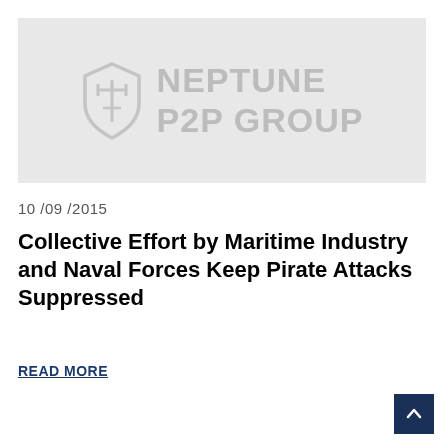[Figure (logo): Neptune P2P Group logo — shield icon with trident and text NEPTUNE P2P GROUP on a light grey background]
10 /09 /2015
Collective Effort by Maritime Industry and Naval Forces Keep Pirate Attacks Suppressed
READ MORE